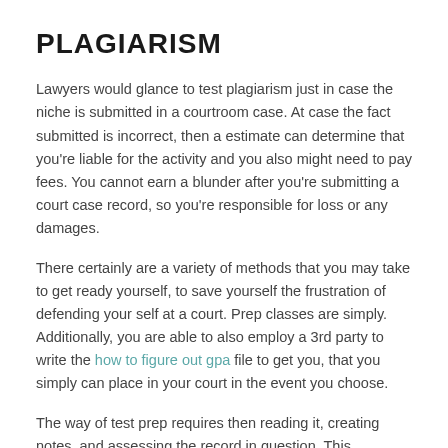PLAGIARISM
Lawyers would glance to test plagiarism just in case the niche is submitted in a courtroom case. At case the fact submitted is incorrect, then a estimate can determine that you're liable for the activity and you also might need to pay fees. You cannot earn a blunder after you're submitting a court case record, so you're responsible for loss or any damages.
There certainly are a variety of methods that you may take to get ready yourself, to save yourself the frustration of defending your self at a court. Prep classes are simply. Additionally, you are able to also employ a 3rd party to write the how to figure out gpa file to get you, that you simply can place in your court in the event you choose.
The way of test prep requires then reading it, creating notes, and assessing the record in question. This